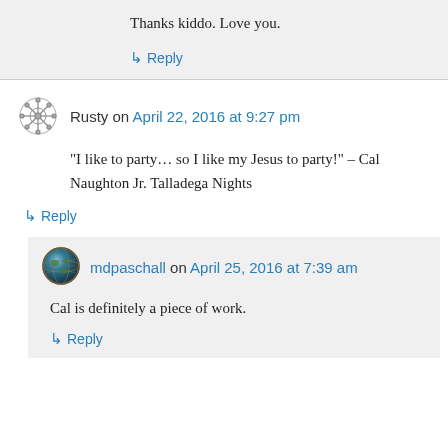Thanks kiddo. Love you.
↳ Reply
Rusty on April 22, 2016 at 9:27 pm
“I like to party… so I like my Jesus to party!” – Cal Naughton Jr. Talladega Nights
↳ Reply
mdpaschall on April 25, 2016 at 7:39 am
Cal is definitely a piece of work.
↳ Reply